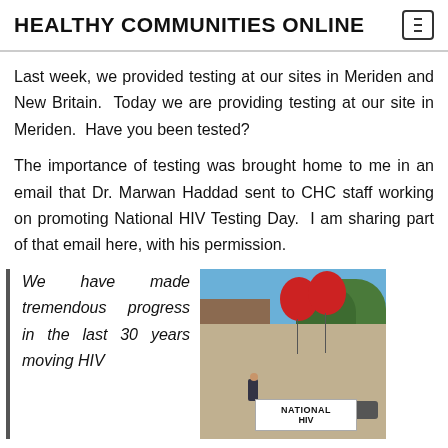HEALTHY COMMUNITIES ONLINE
Last week, we provided testing at our sites in Meriden and New Britain.  Today we are providing testing at our site in Meriden.  Have you been tested?
The importance of testing was brought home to me in an email that Dr. Marwan Haddad sent to CHC staff working on promoting National HIV Testing Day. I am sharing part of that email here, with his permission.
We have made tremendous progress in the last 30 years moving HIV
[Figure (photo): Outdoor scene showing two red balloons tied near a sidewalk with a sign reading NATIONAL HIV, trees and a building in the background]